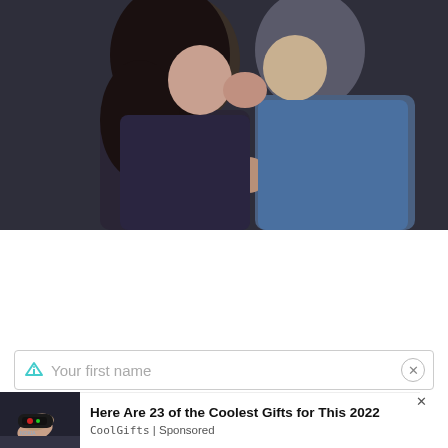[Figure (photo): Two people kissing in a dramatic scene, one with dark hair and one with light hair wearing a blue shirt, dark moody lighting]
Get Exclusive GH Spoilers, Recaps & New Right In Your Inbox!
Your first name
[Figure (photo): Close-up of a Nokia fitness tracker/smartband on a finger, dark background]
Here Are 23 of the Coolest Gifts for This 2022
CoolGifts | Sponsored